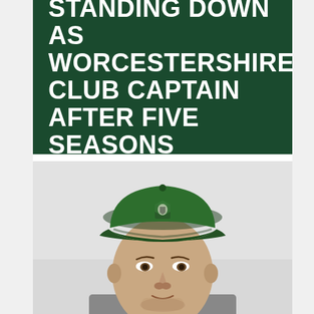STANDING DOWN AS WORCESTERSHIRE CLUB CAPTAIN AFTER FIVE SEASONS
[Figure (photo): Close-up photo of a man wearing a green cricket cap with a Worcestershire county cricket badge. He has stubble and is looking slightly to the left. The background is pale grey/white.]